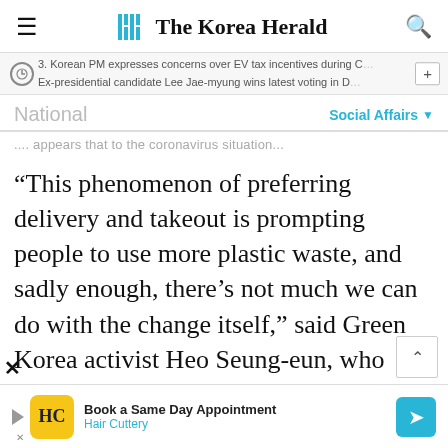The Korea Herald
3. Korean PM expresses concerns over EV tax incentives during C... | Ex-presidential candidate Lee Jae-myung wins latest voting in D...
National | Social Affairs
...not appears that to the coronavirus situation...
“This phenomenon of preferring delivery and takeout is prompting people to use more plastic waste, and sadly enough, there’s not much we can do with the change itself,” said Green Korea activist Heo Seung-eun, who agrees that controlling the virus should be prioritized.
[Figure (advertisement): Hair Cuttery advertisement: Book a Same Day Appointment]
Book a Same Day Appointment - Hair Cuttery